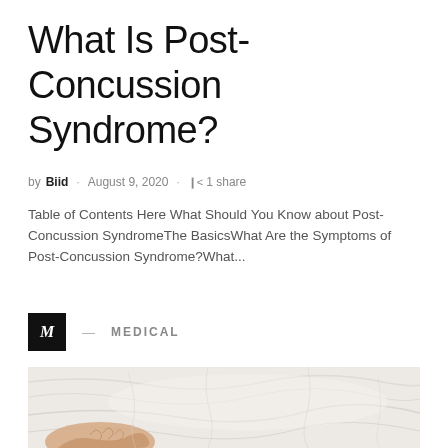What Is Post-Concussion Syndrome?
by Biid · August 9, 2020 · 1 share
Table of Contents Here What Should You Know about Post-Concussion SyndromeThe BasicsWhat Are the Symptoms of Post-Concussion Syndrome?What...
M — MEDICAL
[Figure (photo): Person lying in white bed sheets, hand visible on the sheets — illustrating rest/recovery for post-concussion syndrome article]